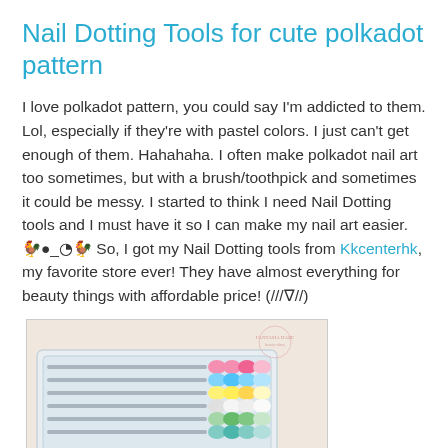Nail Dotting Tools for cute polkadot pattern
I love polkadot pattern, you could say I'm addicted to them. Lol, especially if they're with pastel colors. I just can't get enough of them. Hahahaha. I often make polkadot nail art too sometimes, but with a brush/toothpick and sometimes it could be messy. I started to think I need Nail Dotting tools and I must have it so I can make my nail art easier. 🐛_🌑 So, I got my Nail Dotting tools from Kkcenterhk, my favorite store ever! They have almost everything for beauty things with affordable price! (///∇//)
[Figure (photo): Photo of nail dotting tools set in white plastic packaging tray, with colorful (pink, blue, yellow, white, green) gem-shaped tips arranged in rows, metal handles visible]